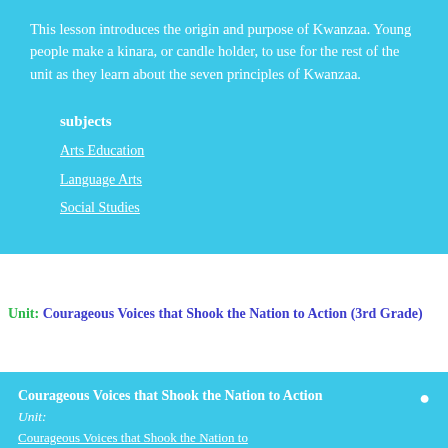This lesson introduces the origin and purpose of Kwanzaa. Young people make a kinara, or candle holder, to use for the rest of the unit as they learn about the seven principles of Kwanzaa.
subjects
Arts Education
Language Arts
Social Studies
Unit: Courageous Voices that Shook the Nation to Action (3rd Grade)
Courageous Voices that Shook the Nation to Action Unit:
Courageous Voices that Shook the Nation to...